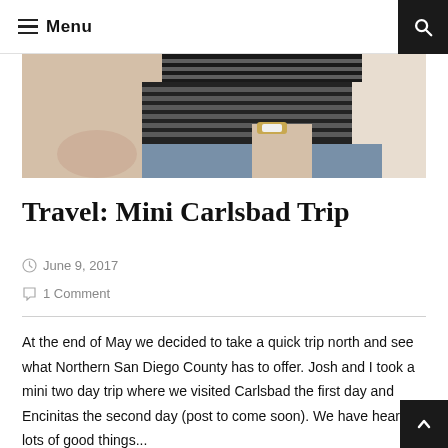Menu
[Figure (photo): Cropped photo of a person wearing a black and white striped top, with jeans and a gold watch, leaning against a light-colored wall.]
Travel: Mini Carlsbad Trip
June 9, 2017
1 Comment
At the end of May we decided to take a quick trip north and see what Northern San Diego County has to offer. Josh and I took a mini two day trip where we visited Carlsbad the first day and Encinitas the second day (post to come soon). We have heard lots of good things...